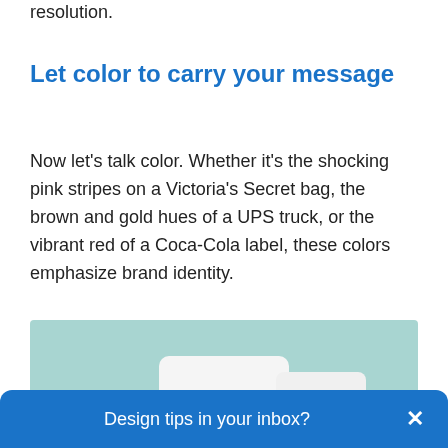resolution.
Let color to carry your message
Now let’s talk color. Whether it’s the shocking pink stripes on a Victoria’s Secret bag, the brown and gold hues of a UPS truck, or the vibrant red of a Coca-Cola label, these colors emphasize brand identity.
[Figure (photo): A light teal/mint background with white ceramic or porcelain cup/mug objects partially visible at the bottom of the frame.]
Design tips in your inbox?